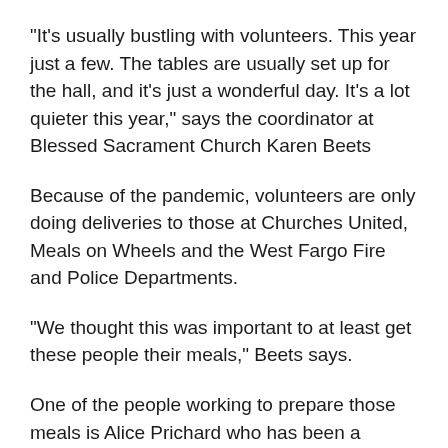“It’s usually bustling with volunteers. This year just a few. The tables are usually set up for the hall, and it’s just a wonderful day. It’s a lot quieter this year,” says the coordinator at Blessed Sacrament Church Karen Beets
Because of the pandemic, volunteers are only doing deliveries to those at Churches United, Meals on Wheels and the West Fargo Fire and Police Departments.
“We thought this was important to at least get these people their meals,” Beets says.
One of the people working to prepare those meals is Alice Prichard who has been a volunteer since 1997 when she arrived to West Fargo from Dickinson.